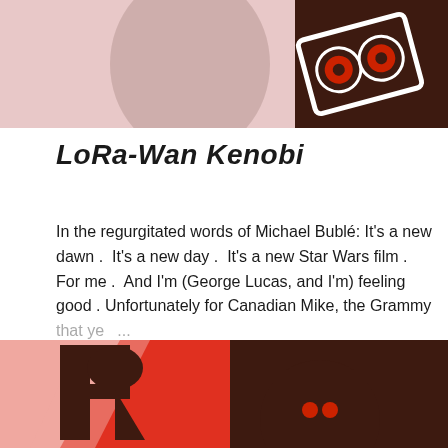[Figure (illustration): Top portion of a blog post illustration showing a pink background with a stylized Star Wars-themed graphic. On the right side, a dark brown illustrated character with large red circular eyes (resembling spectacles or goggles) is visible.]
LoRa-Wan Kenobi
In the regurgitated words of Michael Bublé: It's a new dawn .  It's a new day .  It's a new Star Wars film .  For me .  And I'm (George Lucas, and I'm) feeling good . Unfortunately for Canadian Mike, the Grammy that ye ...
SHARE    1 COMMENT       WHAT, THERE'S MORE?
[Figure (illustration): Bottom portion of another blog post illustration with a red, pink, and dark brown color scheme. Shows partial large letters and a partial circular illustrated character or logo.]